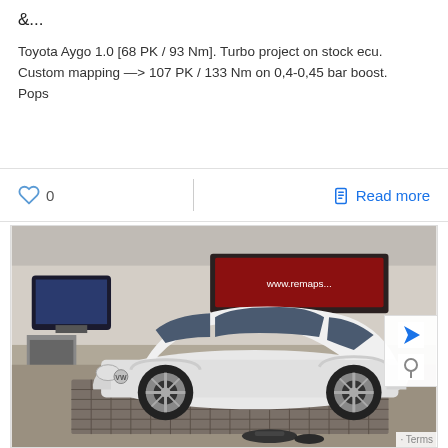&...
Toyota Aygo 1.0 [68 PK / 93 Nm]. Turbo project on stock ecu. Custom mapping —> 107 PK / 133 Nm on 0,4-0,45 bar boost. Pops
0
Read more
[Figure (photo): White Volkswagen Golf GTI hatchback parked on a dynamometer/rolling road inside a garage workshop. Red banner visible in the background. Some equipment on the floor in front of the car.]